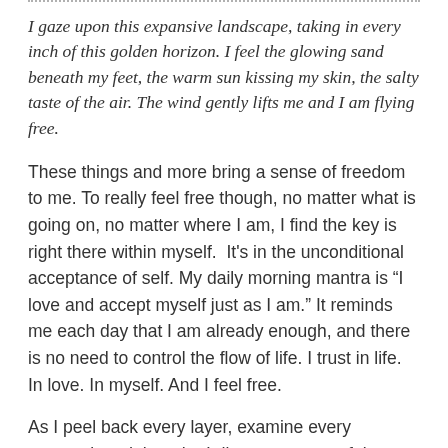I gaze upon this expansive landscape, taking in every inch of this golden horizon. I feel the glowing sand beneath my feet, the warm sun kissing my skin, the salty taste of the air. The wind gently lifts me and I am flying free.
These things and more bring a sense of freedom to me. To really feel free though, no matter what is going on, no matter where I am, I find the key is right there within myself.  It's in the unconditional acceptance of self. My daily morning mantra is “I love and accept myself just as I am.” It reminds me each day that I am already enough, and there is no need to control the flow of life. I trust in life. In love. In myself. And I feel free.
As I peel back every layer, examine every unquestioned thought, I discover a peaceful